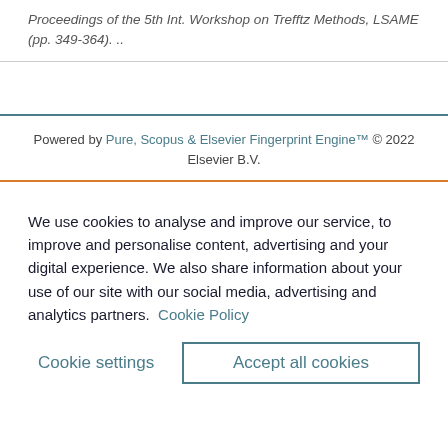Proceedings of the 5th Int. Workshop on Trefftz Methods, LSAME (pp. 349-364). ..
Powered by Pure, Scopus & Elsevier Fingerprint Engine™ © 2022 Elsevier B.V.
We use cookies to analyse and improve our service, to improve and personalise content, advertising and your digital experience. We also share information about your use of our site with our social media, advertising and analytics partners.  Cookie Policy
Cookie settings
Accept all cookies